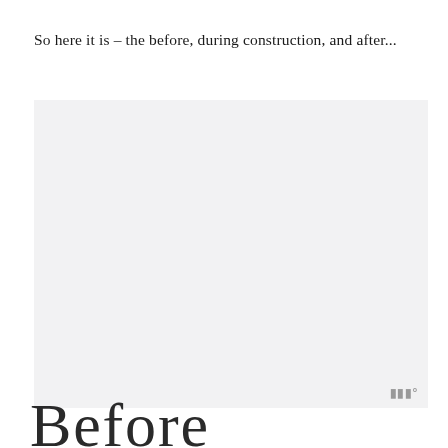So here it is – the before, during construction, and after...
[Figure (photo): A nearly blank/very light photograph placeholder with a small watermark icon in the bottom-right corner]
Before